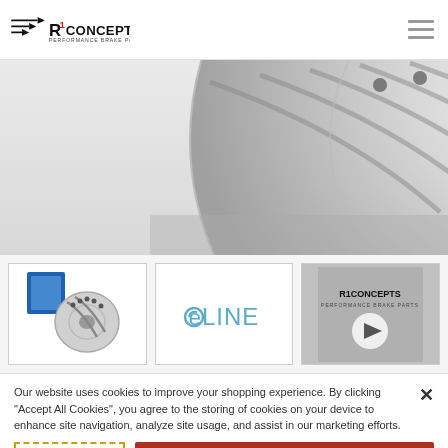R1 Concepts - Performance Brake Parts
[Figure (photo): Close-up photo of a silver drilled and slotted brake rotor against a light grey background, showing the rotor from slightly above]
[Figure (photo): Thumbnail 1: R1 Concepts brake pads and rotors product photo with blue packaging]
[Figure (logo): Thumbnail 2: eLine logo in light blue text]
[Figure (screenshot): Thumbnail 3: R1 Concepts logo with video play button overlay]
Our website uses cookies to improve your shopping experience. By clicking "Accept All Cookies", you agree to the storing of cookies on your device to enhance site navigation, analyze site usage, and assist in our marketing efforts.